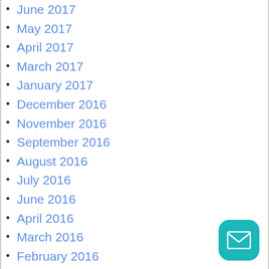June 2017
May 2017
April 2017
March 2017
January 2017
December 2016
November 2016
September 2016
August 2016
July 2016
June 2016
April 2016
March 2016
February 2016
January 2016
December 2015
November 2015
October 2015
September 2015